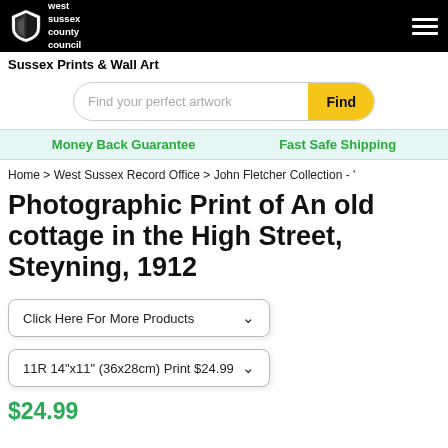West Sussex County Council — Sussex Prints & Wall Art
Find your perfect artwork
Money Back Guarantee   Fast Safe Shipping
Home > West Sussex Record Office > John Fletcher Collection - '
Photographic Print of An old cottage in the High Street, Steyning, 1912
Click Here For More Products
11R 14"x11" (36x28cm) Print $24.99
$24.99